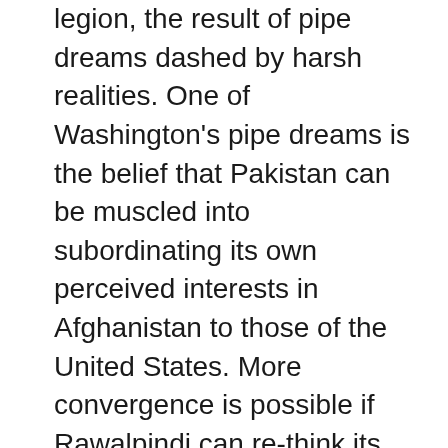legion, the result of pipe dreams dashed by harsh realities. One of Washington's pipe dreams is the belief that Pakistan can be muscled into subordinating its own perceived interests in Afghanistan to those of the United States. More convergence is possible if Rawalpindi can re-think its Afghan strategy, but this heavy lift – as with trying to change Pakistan's open-ended embrace of nuclear weapons and its anti-India policy – won't occur by wielding a big stick.
Even if Rawalpindi changes some aspects of its Afghan policy, bridging differences with the United States seems unlikely. Pakistan is